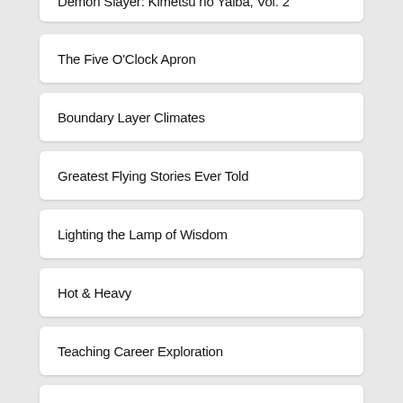Demon Slayer: Kimetsu no Yaiba, Vol. 2
The Five O'Clock Apron
Boundary Layer Climates
Greatest Flying Stories Ever Told
Lighting the Lamp of Wisdom
Hot & Heavy
Teaching Career Exploration
The Desire of the Nations